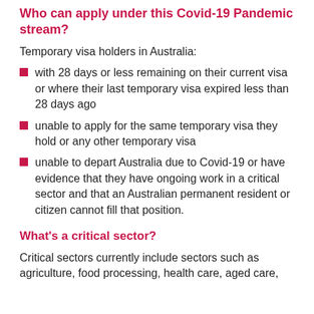Who can apply under this Covid-19 Pandemic stream?
Temporary visa holders in Australia:
with 28 days or less remaining on their current visa or where their last temporary visa expired less than 28 days ago
unable to apply for the same temporary visa they hold or any other temporary visa
unable to depart Australia due to Covid-19 or have evidence that they have ongoing work in a critical sector and that an Australian permanent resident or citizen cannot fill that position.
What's a critical sector?
Critical sectors currently include sectors such as agriculture, food processing, health care, aged care,